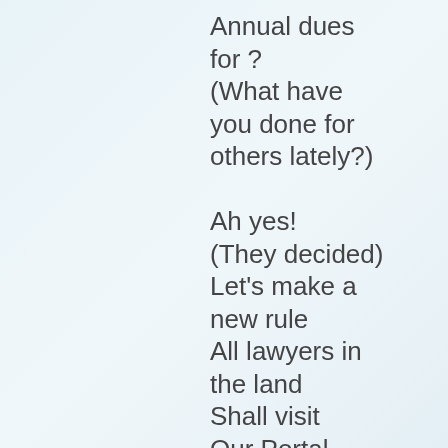Annual dues for ?
(What have you done for others lately?)

Ah yes!
(They decided)
Let's make a new rule
All lawyers in the land
Shall visit
Our Portal
It is our Royal
Ta-da
and